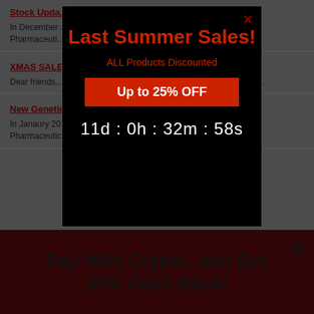Stock Upda...
In December ... ble anabolic steroids.
XMAS SALE...
Dear friends, ... products to be presented on...
New Genetic...
In Janaury 20... tic Pharmaceuticals and Ice Pharmaceuticals.
Pay With Crypto, And Get 20% Cash Back!
[Figure (screenshot): Modal popup overlay with black background. Title: 'Last Summer Sales!' in red, subtitle: 'ALL Products Discounted' in red, red button 'Up to 25% OFF', countdown timer '11d : 0h : 32m : 58s' in white, and close X button in top right.]